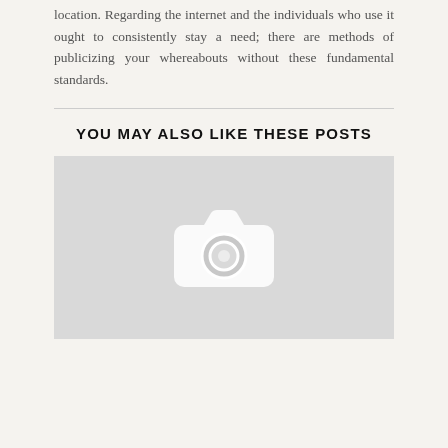location. Regarding the internet and the individuals who use it ought to consistently stay a need; there are methods of publicizing your whereabouts without these fundamental standards.
YOU MAY ALSO LIKE THESE POSTS
[Figure (photo): Placeholder image with a grey background and a white camera icon in the center.]